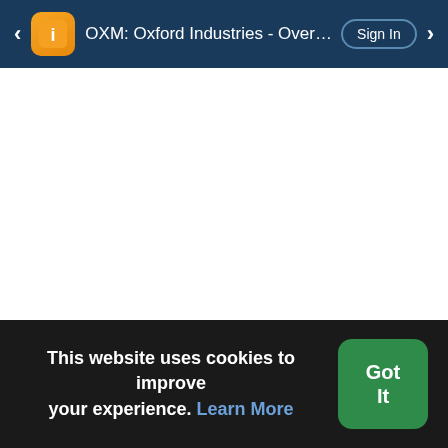OXM: Oxford Industries - Overview | I3in  Sign In
This website uses cookies to improve your experience. Learn More
Got It